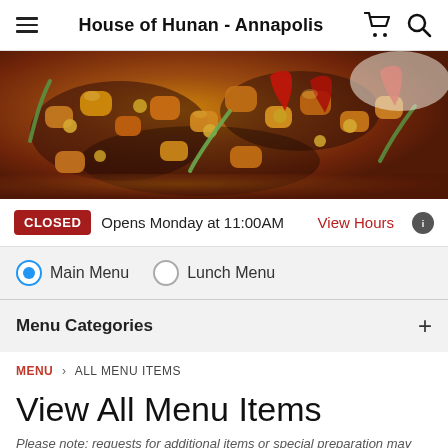House of Hunan - Annapolis
[Figure (photo): Chinese food dish with chicken, nuts, red chili peppers and green onions in dark sauce on a plate]
CLOSED  Opens Monday at 11:00AM  View Hours
Main Menu  Lunch Menu
Menu Categories  +
MENU > ALL MENU ITEMS
View All Menu Items
Please note: requests for additional items or special preparation may incur an